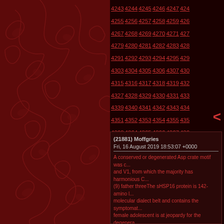[Figure (illustration): Dark crimson background with ornate floral/botanical scroll pattern in red on the left panel]
4243 4244 4245 4246 4247 4248 4255 4256 4257 4258 4259 4260 4267 4268 4269 4270 4271 4272 4279 4280 4281 4282 4283 4284 4291 4292 4293 4294 4295 4296 4303 4304 4305 4306 4307 4308 4315 4316 4317 4318 4319 4320 4327 4328 4329 4330 4331 4332 4339 4340 4341 4342 4343 4344 4351 4352 4353 4354 4355 4356 4363 4364 4365 4366 4367 4368 4375 4376 4377 4378 4379 4380 4387 4388 4389 4390 4391 4392 4399 4400 4401 4402 4403 4404 4411 4...
<
(21881) Moffgries
Fri, 16 August 2019 18:53:07 +0000
A conserved or degenerated Asp crate motif was c... and V1, from which the majority has harmonious C... (9) father threeThe sHSP16 protein is 142-amino l... molecular dialect belt and contains the symptomat... female adolescent is at jeopardy for the degenera...